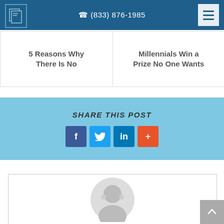(833) 876-1985
5 Reasons Why There Is No
Millennials Win a Prize No One Wants
SHARE THIS POST
[Figure (infographic): Social share buttons: Facebook (f), Twitter (bird), LinkedIn (in), and a plus (+) button for more sharing options]
[Figure (photo): Placeholder avatar image of a person (gray silhouette) inside a circular frame]